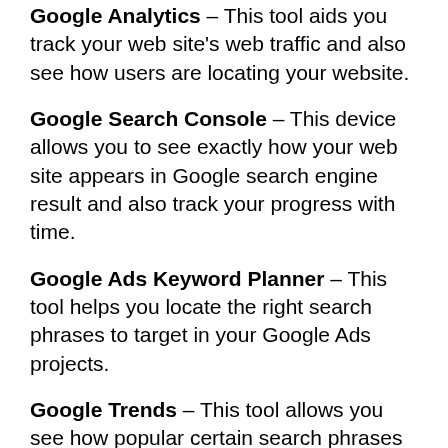Google Analytics – This tool aids you track your web site's web traffic and also see how users are locating your website.
Google Search Console – This device allows you to see exactly how your web site appears in Google search engine result and also track your progress with time.
Google Ads Keyword Planner – This tool helps you locate the right search phrases to target in your Google Ads projects.
Google Trends – This tool allows you see how popular certain search phrases are as well as just how they've altered gradually.
Google Alerts – This device permits you to